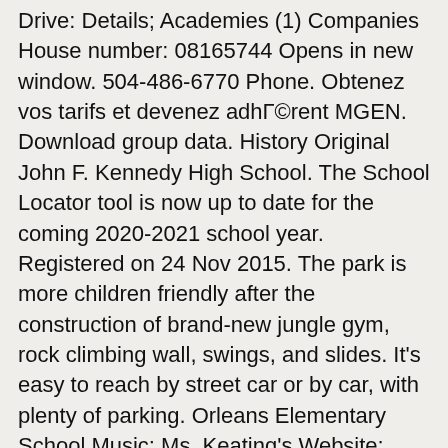Drive: Details; Academies (1) Companies House number: 08165744 Opens in new window. 504-486-6770 Phone. Obtenez vos tarifs et devenez adhérent MGEN. Download group data. History Original John F. Kennedy High School. The School Locator tool is now up to date for the coming 2020-2021 school year. Registered on 24 Nov 2015. The park is more children friendly after the construction of brand-new jungle gym, rock climbing wall, swings, and slides. It's easy to reach by street car or by car, with plenty of parking. Orleans Elementary School Music; Ms. Keating's Website; OES Counselors' Corner - Mrs. Ambrose and Mrs. Lacey; Orleans Art Class; Special Education Resources; OES Grade 1; OES Grade 2 ; OES Science; OES Speech and Language; OES Spanish; Mrs. Hinote - O.T. Published By: Lord Elwood. In order to buy an item simply select an appropriate size and quantity and add it/them to your basket. Event address: 2 Friederich Ave. New Orleans 70124 (There